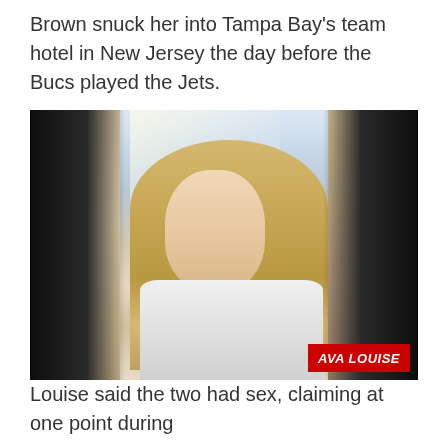Brown snuck her into Tampa Bay's team hotel in New Jersey the day before the Bucs played the Jets.
[Figure (photo): Photo of a young blonde woman in a white top, posing with hand near her face. Label 'AVA LOUISE' in red banner at bottom right.]
AVA LOUISE
Louise said the two had sex, claiming at one point during